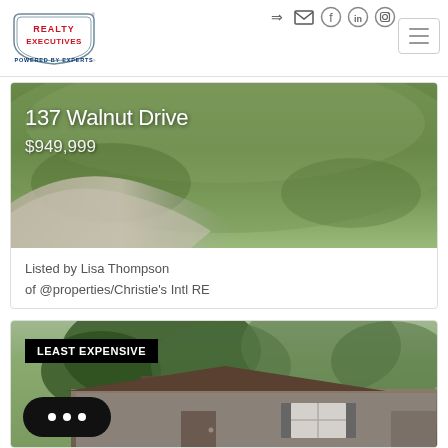[Figure (logo): Realty Executives logo — badge shape with red text 'REALTY EXECUTIVES' and blue tagline 'POWERED BY EXPERTS']
137 Walnut Drive
$949,999
Listed by Lisa Thompson
of @properties/Christie's Intl RE
[Figure (photo): Exterior photo of house with large tree in foreground, suburban home with siding and white shuttered window, green trees in background. Badge overlay: LEAST EXPENSIVE]